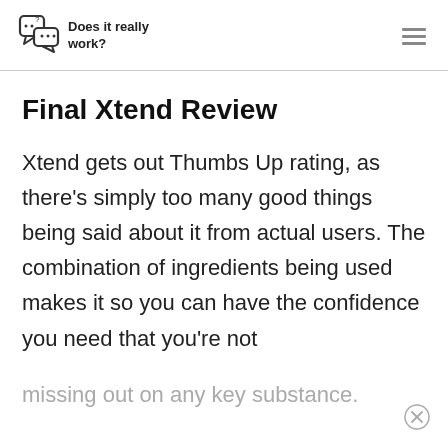Does it really work?
Final Xtend Review
Xtend gets out Thumbs Up rating, as there's simply too many good things being said about it from actual users. The combination of ingredients being used makes it so you can have the confidence you need that you're not missing out on any key substance.